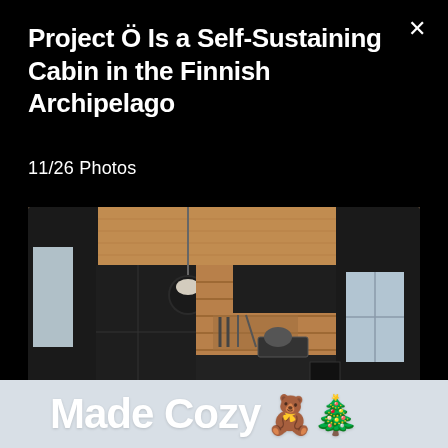Project Ö Is a Self-Sustaining Cabin in the Finnish Archipelago
11/26 Photos
[Figure (photo): Interior of a modern cabin kitchen with black cabinetry, natural wood ceiling and walls, pendant light, knife rack, and a small window with a view outside.]
Made Cozy 🧸🎄